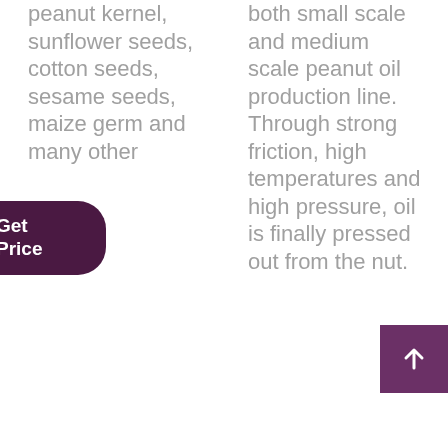peanut kernel, sunflower seeds, cotton seeds, sesame seeds, maize germ and many other
[Figure (other): Get Price button - dark purple pill-shaped button on left column]
both small scale and medium scale peanut oil production line. Through strong friction, high temperatures and high pressure, oil is finally pressed out from the nut.
[Figure (other): Up arrow button - purple square with white upward arrow icon]
[Figure (other): Get Price button - dark purple pill-shaped button on right column]